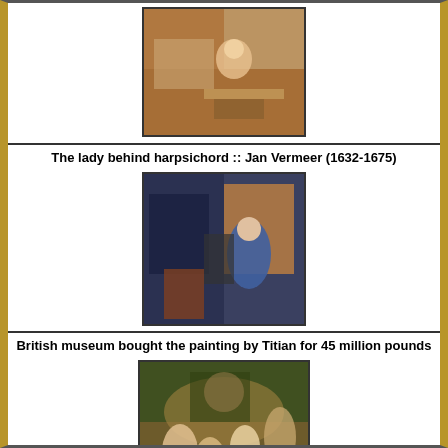[Figure (illustration): Painting of a child on floor near a bed, warm tones]
The lady behind harpsichord :: Jan Vermeer (1632-1675)
[Figure (illustration): Painting of a lady in blue dress at a harpsichord, Jan Vermeer]
British museum bought the painting by Titian for 45 million pounds
[Figure (illustration): Painting by Titian showing figures in a mythological scene]
In 2011 Sotheby's overtook Christie's sales
[Figure (illustration): Painting, mostly blank/light colored placeholder]